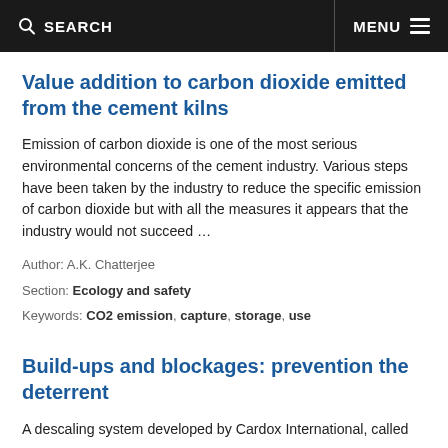SEARCH  MENU
Value addition to carbon dioxide emitted from the cement kilns
Emission of carbon dioxide is one of the most serious environmental concerns of the cement industry. Various steps have been taken by the industry to reduce the specific emission of carbon dioxide but with all the measures it appears that the industry would not succeed …
Author: A.K. Chatterjee
Section: Ecology and safety
Keywords: CO2 emission, capture, storage, use
Build-ups and blockages: prevention the deterrent
A descaling system developed by Cardox International, called